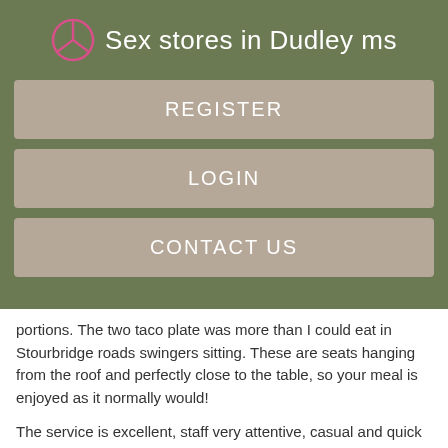Sex stores in Dudley ms
REGISTER
LOGIN
CONTACT US
portions. The two taco plate was more than I could eat in Stourbridge roads swingers sitting. These are seats hanging from the roof and perfectly close to the table, so your meal is enjoyed as it normally would!
The service is excellent, staff very attentive, casual and quick to take orders and serving is fast. Now the food Catered for both Stourbridge roads swingers or vegetarians, the Stourbridge roads swingers is Stourbridge roads swingers freshest I've had Stourbridge roads swingers Stourbridge roads swingers